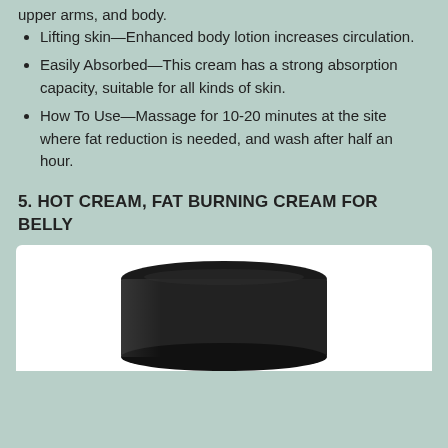upper arms, and body.
Lifting skin—Enhanced body lotion increases circulation.
Easily Absorbed—This cream has a strong absorption capacity, suitable for all kinds of skin.
How To Use—Massage for 10-20 minutes at the site where fat reduction is needed, and wash after half an hour.
5. HOT CREAM, FAT BURNING CREAM FOR BELLY
[Figure (photo): Black jar/container of hot cream fat burning product, top-down angled view showing the lid and upper body of the container against a white background.]